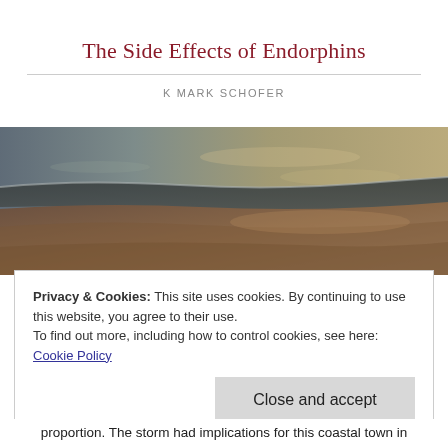The Side Effects of Endorphins
K MARK SCHOFER
[Figure (photo): Wide beach photograph showing ocean waves meeting sandy shore at dusk or dawn, with warm golden and grey tones.]
Privacy & Cookies: This site uses cookies. By continuing to use this website, you agree to their use.
To find out more, including how to control cookies, see here: Cookie Policy
Close and accept
proportion. The storm had implications for this coastal town in